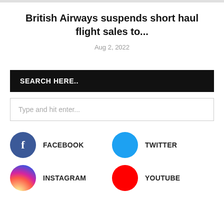British Airways suspends short haul flight sales to...
Aug 2, 2022
SEARCH HERE..
Type and hit enter...
FACEBOOK
TWITTER
INSTAGRAM
YOUTUBE